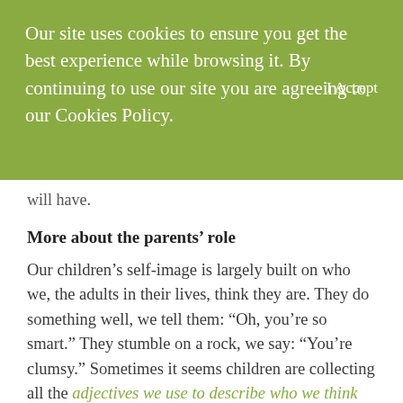Our site uses cookies to ensure you get the best experience while browsing it. By continuing to use our site you are agreeing to our Cookies Policy.
I Accept
will have.
More about the parents’ role
Our children’s self-image is largely built on who we, the adults in their lives, think they are. They do something well, we tell them: “Oh, you’re so smart.” They stumble on a rock, we say: “You’re clumsy.” Sometimes it seems children are collecting all the adjectives we use to describe who we think they are, mentally noting our tone of voice, consequent